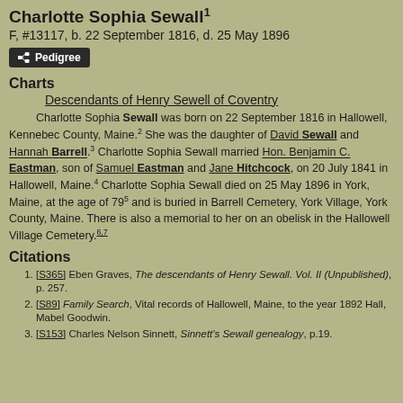Charlotte Sophia Sewall¹
F, #13117, b. 22 September 1816, d. 25 May 1896
Charts
Descendants of Henry Sewell of Coventry
Charlotte Sophia Sewall was born on 22 September 1816 in Hallowell, Kennebec County, Maine.² She was the daughter of David Sewall and Hannah Barrell.³ Charlotte Sophia Sewall married Hon. Benjamin C. Eastman, son of Samuel Eastman and Jane Hitchcock, on 20 July 1841 in Hallowell, Maine.⁴ Charlotte Sophia Sewall died on 25 May 1896 in York, Maine, at the age of 79⁵ and is buried in Barrell Cemetery, York Village, York County, Maine. There is also a memorial to her on an obelisk in the Hallowell Village Cemetery.⁶˒⁷
Citations
[S365] Eben Graves, The descendants of Henry Sewall. Vol. II (Unpublished), p. 257.
[S89] Family Search, Vital records of Hallowell, Maine, to the year 1892 Hall, Mabel Goodwin.
[S153] Charles Nelson Sinnett, Sinnett's Sewall genealogy, p.19.